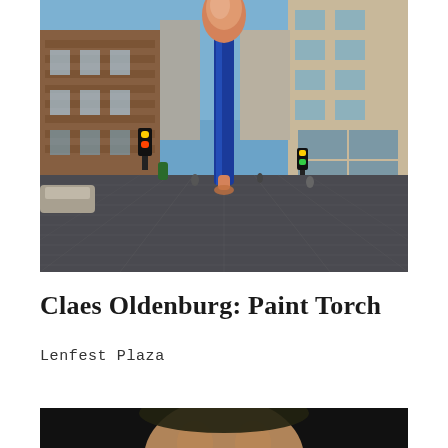[Figure (photo): Urban street scene with a giant paintbrush sculpture (Paint Torch by Claes Oldenburg) rising between city buildings, viewed from a paved plaza with grid pattern. Philadelphia cityscape with red brick and stone buildings on either side.]
Claes Oldenburg: Paint Torch
Lenfest Plaza
[Figure (photo): Partial photo at bottom of page, dark background with partial view of a person's face/head.]